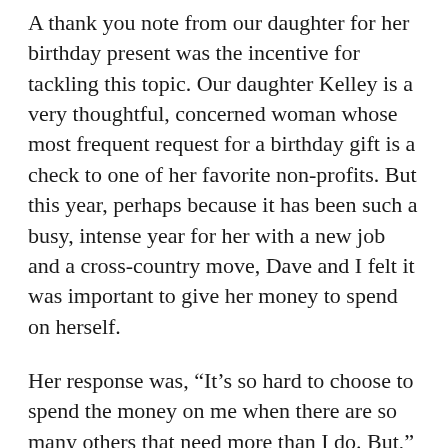A thank you note from our daughter for her birthday present was the incentive for tackling this topic. Our daughter Kelley is a very thoughtful, concerned woman whose most frequent request for a birthday gift is a check to one of her favorite non-profits. But this year, perhaps because it has been such a busy, intense year for her with a new job and a cross-country move, Dave and I felt it was important to give her money to spend on herself.
Her response was, “It’s so hard to choose to spend the money on me when there are so many others that need more than I do. But,” she went on to say, “I know that there has to be a balance.”
How right she is.